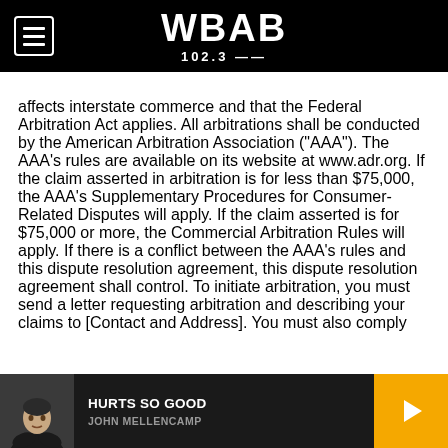WBAB 102.3
affects interstate commerce and that the Federal Arbitration Act applies. All arbitrations shall be conducted by the American Arbitration Association (“AAA”). The AAA’s rules are available on its website at www.adr.org. If the claim asserted in arbitration is for less than $75,000, the AAA’s Supplementary Procedures for Consumer-Related Disputes will apply. If the claim asserted is for $75,000 or more, the Commercial Arbitration Rules will apply. If there is a conflict between the AAA’s rules and this dispute resolution agreement, this dispute resolution agreement shall control. To initiate arbitration, you must send a letter requesting arbitration and describing your claims to [Contact and Address]. You must also comply
[Figure (screenshot): Music player bar showing album art thumbnail of John Mellencamp, track title HURTS SO GOOD, artist name JOHN MELLENCAMP, and a yellow play button]
HURTS SO GOOD — JOHN MELLENCAMP